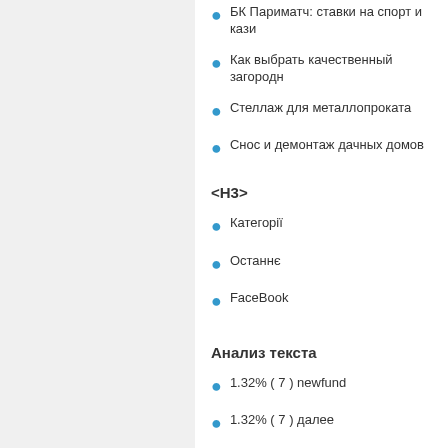БК Париматч: ставки на спорт и кази
Как выбрать качественный загородн
Стеллаж для металлопроката
Снос и демонтаж дачных домов
<H3>
Категорії
Останнє
FaceBook
Анализ текста
1.32% ( 7 ) newfund
1.32% ( 7 ) далее
1.32% ( 7 ) месяца
1.13% ( 6 ) сайт
0.94% ( 5 ) блог
0.94% ( 5 ) двери
0.94% ( 5 ) ремонт
0.94% ( 5 ) строительство